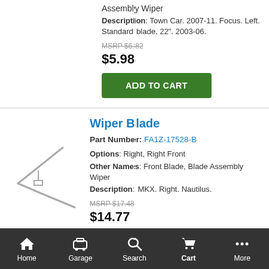Assembly Wiper
Description: Town Car. 2007-11. Focus. Left. Standard blade. 22". 2003-06.
MSRP $6.82
$5.98
ADD TO CART
Wiper Blade
Part Number: FA1Z-17528-B
Options: Right, Right Front
Other Names: Front Blade, Blade Assembly Wiper
Description: MKX. Right. Nautilus.
MSRP $17.48
$14.77
ADD TO CART
Home  Garage  Search  Cart  More